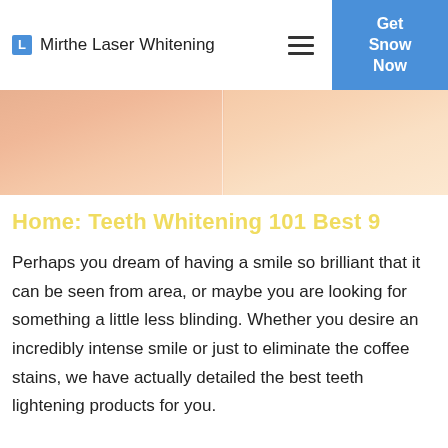Mirthe Laser Whitening | Get Snow Now
[Figure (photo): Close-up split image of a person's lower face/chin area, divided vertically in the center, showing skin texture on both halves with a slightly different tone on each side.]
Home: Teeth Whitening 101 Best 9
Perhaps you dream of having a smile so brilliant that it can be seen from area, or maybe you are looking for something a little less blinding. Whether you desire an incredibly intense smile or just to eliminate the coffee stains, we have actually detailed the best teeth lightening products for you.